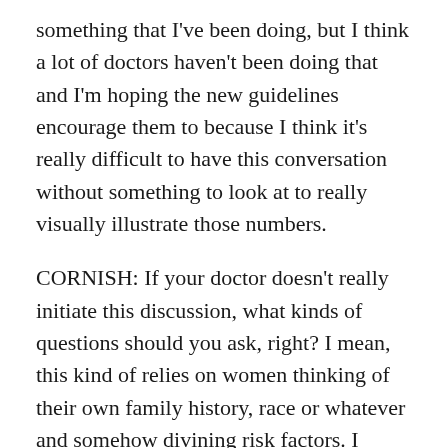something that I've been doing, but I think a lot of doctors haven't been doing that and I'm hoping the new guidelines encourage them to because I think it's really difficult to have this conversation without something to look at to really visually illustrate those numbers.
CORNISH: If your doctor doesn't really initiate this discussion, what kinds of questions should you ask, right? I mean, this kind of relies on women thinking of their own family history, race or whatever and somehow divining risk factors. I mean, what should patients be thinking about?
LIN: Well, so the guideline that the ACS released was a guideline for average risk women who are defined as not having one of the breast cancer genes or not having a family history where you have several family members with breast